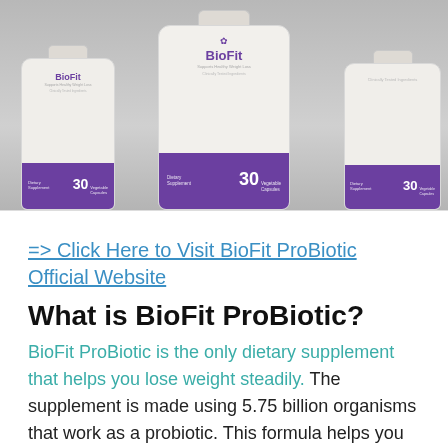[Figure (photo): Three BioFit ProBiotic supplement bottles with white bodies and purple bands, showing '30 Vegetable Capsules', arranged with one in front and two behind on a grey background.]
=> Click Here to Visit BioFit ProBiotic Official Website
What is BioFit ProBiotic?
BioFit ProBiotic is the only dietary supplement that helps you lose weight steadily. The supplement is made using 5.75 billion organisms that work as a probiotic. This formula helps you lose weight no matter how much you eat or how your lifestyle is.